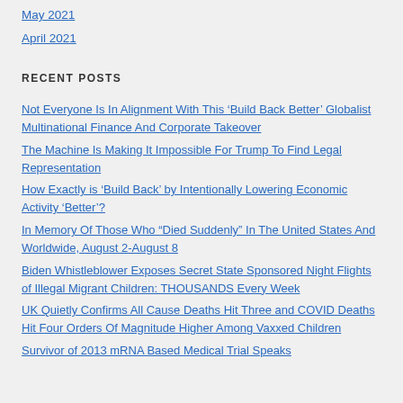May 2021
April 2021
RECENT POSTS
Not Everyone Is In Alignment With This ‘Build Back Better’ Globalist Multinational Finance And Corporate Takeover
The Machine Is Making It Impossible For Trump To Find Legal Representation
How Exactly is ‘Build Back’ by Intentionally Lowering Economic Activity ‘Better’?
In Memory Of Those Who “Died Suddenly” In The United States And Worldwide, August 2-August 8
Biden Whistleblower Exposes Secret State Sponsored Night Flights of Illegal Migrant Children: THOUSANDS Every Week
UK Quietly Confirms All Cause Deaths Hit Three and COVID Deaths Hit Four Orders Of Magnitude Higher Among Vaxxed Children
Survivor of 2013 mRNA Based Medical Trial Speaks